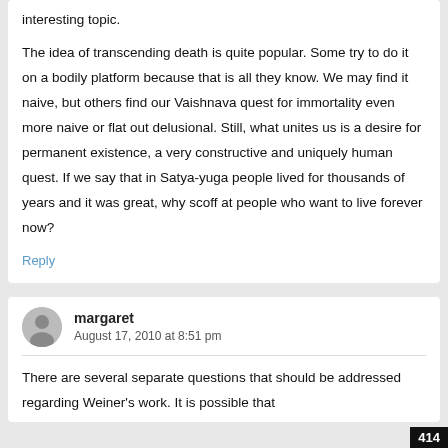interesting topic.
The idea of transcending death is quite popular. Some try to do it on a bodily platform because that is all they know. We may find it naive, but others find our Vaishnava quest for immortality even more naive or flat out delusional. Still, what unites us is a desire for permanent existence, a very constructive and uniquely human quest. If we say that in Satya-yuga people lived for thousands of years and it was great, why scoff at people who want to live forever now?
Reply
margaret
August 17, 2010 at 8:51 pm
There are several separate questions that should be addressed regarding Weiner's work. It is possible that
414